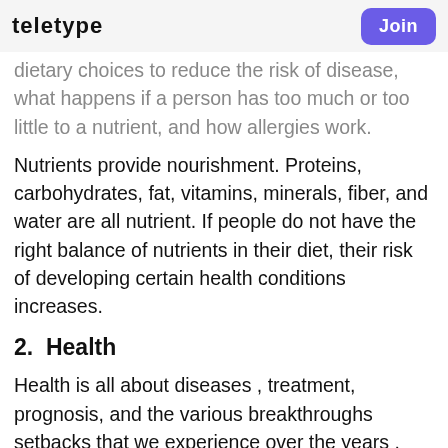teletype | Join
dietary choices to reduce the risk of disease, what happens if a person has too much or too little to a nutrient, and how allergies work.
Nutrients provide nourishment. Proteins, carbohydrates, fat, vitamins, minerals, fiber, and water are all nutrient. If people do not have the right balance of nutrients in their diet, their risk of developing certain health conditions increases.
2.  Health
Health is all about diseases , treatment, prognosis, and the various breakthroughs setbacks that we experience over the years . you can cover the latest ones , such as  the growth of cancer cases , diabetes , and cardiovascular diseases. Other topics include how to maintain female and male health